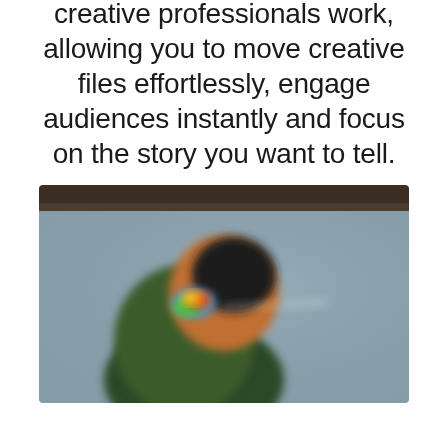creative professionals work, allowing you to move creative files effortlessly, engage audiences instantly and focus on the story you want to tell.
[Figure (photo): A blurred photo of a colorful parrot (green and orange with blue/rainbow markings near beak) against a muted grey-blue background, with dark wood panel at top. A faint white watermark text is visible in the center-right area.]